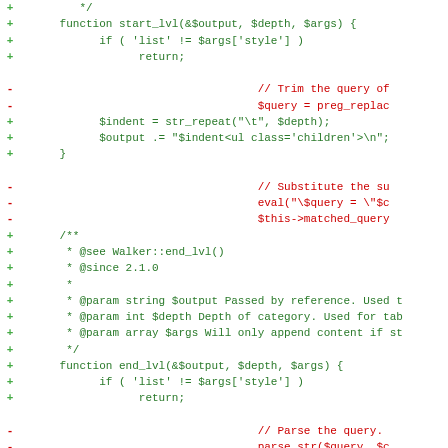[Figure (screenshot): Code diff showing PHP functions start_lvl and end_lvl with added lines (green, +) and removed lines (red, -). Lines include function signatures, if conditions, return statements, variable assignments, and PHPDoc comment blocks.]